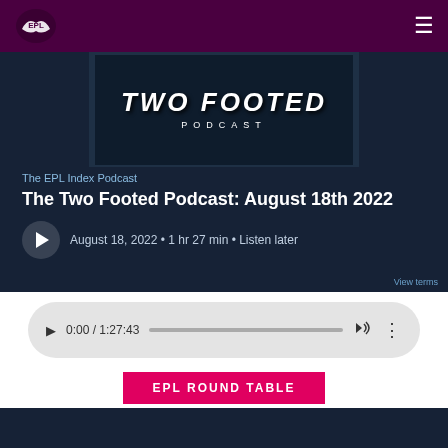EPL Index Radio — navigation bar
[Figure (screenshot): Two Footed Podcast artwork — black graffiti-style text on dark background with the words TWO FOOTED PODCAST]
The EPL Index Podcast
The Two Footed Podcast: August 18th 2022
August 18, 2022 • 1 hr 27 min • Listen later
[Figure (screenshot): Audio player widget showing 0:00 / 1:27:43 with play button, progress bar, volume and more options icons]
EPL ROUND TABLE
[Figure (screenshot): Dark navy panel at the bottom — EPL Round Table section beginning]